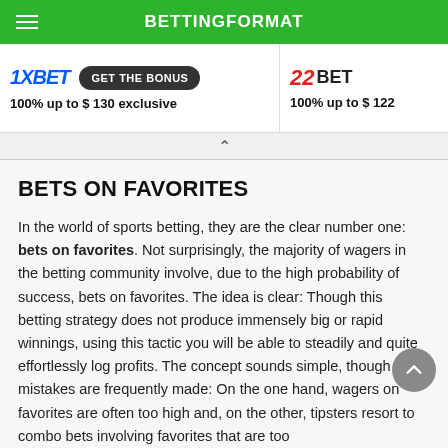BETTINGFORMAT
[Figure (screenshot): 1XBET logo with GET THE BONUS button and 22BET logo side by side promotional banner. Left: 1XBET logo, GET THE BONUS dark pill button. Text: 100% up to $ 130 exclusive. Right: 22BET logo. Text: 100% up to $ 122]
BETS ON FAVORITES
In the world of sports betting, they are the clear number one: bets on favorites. Not surprisingly, the majority of wagers in the betting community involve, due to the high probability of success, bets on favorites. The idea is clear: Though this betting strategy does not produce immensely big or rapid winnings, using this tactic you will be able to steadily and quite effortlessly log profits. The concept sounds simple, though mistakes are frequently made: On the one hand, wagers on favorites are often too high and, on the other, tipsters resort to combo bets involving favorites that are too